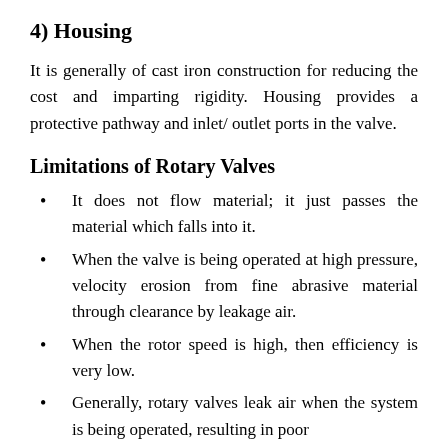4) Housing
It is generally of cast iron construction for reducing the cost and imparting rigidity. Housing provides a protective pathway and inlet/ outlet ports in the valve.
Limitations of Rotary Valves
It does not flow material; it just passes the material which falls into it.
When the valve is being operated at high pressure, velocity erosion from fine abrasive material through clearance by leakage air.
When the rotor speed is high, then efficiency is very low.
Generally, rotary valves leak air when the system is being operated, resulting in poor